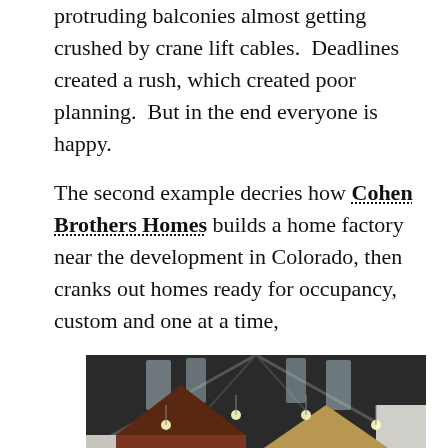protruding balconies almost getting crushed by crane lift cables.  Deadlines created a rush, which created poor planning.  But in the end everyone is happy.
The second example decries how Cohen Brothers Homes builds a home factory near the development in Colorado, then cranks out homes ready for occupancy, custom and one at a time, every 20 days.  The homes are built on a steel frame that is then moved over the final foundation.
[Figure (photo): Interior of a large factory/warehouse with steel roof structure, showing two houses being built inside — one with red/brown siding and one with light wood framing — surrounded by construction materials including stacked lumber and rolled materials on the floor.]